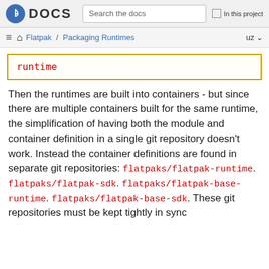Fedora DOCS | Search the docs | In this project
Flatpak / Packaging Runtimes | uz
runtime
Then the runtimes are built into containers - but since there are multiple containers built for the same runtime, the simplification of having both the module and container definition in a single git repository doesn’t work. Instead the container definitions are found in separate git repositories: flatpaks/flatpak-runtime. flatpaks/flatpak-sdk. flatpaks/flatpak-base-runtime. flatpaks/flatpak-base-sdk. These git repositories must be kept tightly in sync